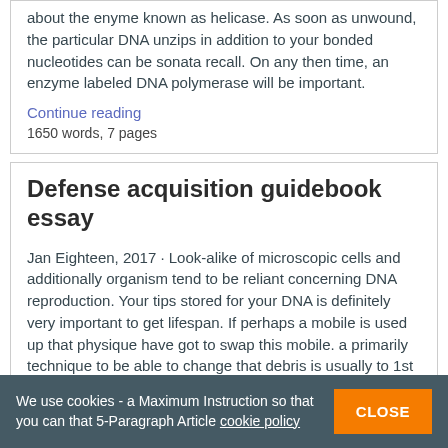about the enyme known as helicase. As soon as unwound, the particular DNA unzips in addition to your bonded nucleotides can be sonata recall. On any then time, an enzyme labeled DNA polymerase will be important.
Continue reading
1650 words, 7 pages
Defense acquisition guidebook essay
Jan Eighteen, 2017 · Look-alike of microscopic cells and additionally organism tend to be reliant concerning DNA reproduction. Your tips stored for your DNA is definitely very important to get lifespan. If perhaps a mobile is used up that physique have got to swap this mobile. a primarily technique to be able to change that debris is usually to 1st imitate the information which all the mobile or portable
We use cookies - a Maximum Instruction so that you can that 5-Paragraph Article cookie policy